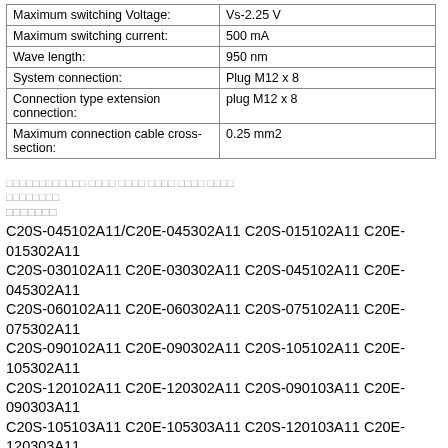| Property | Value |
| --- | --- |
| Maximum switching Voltage: | Vs-2.25 V |
| Maximum switching current: | 500 mA |
| Wave length: | 950 nm |
| System connection: | Plug M12 x 8 |
| Connection type extension connection: | plug M12 x 8 |
| Maximum connection cable cross-section: | 0.25 mm2 |
░░░░░░░░░░░░ ░░░░ ░░░░ ░░░░ ░░░░ ░░░░
░░░░░░░░
░░░░░░░
C20S-045102A11/C20E-045302A11 C20S-015102A11 C20E-015302A11 C20S-030102A11 C20E-030302A11 C20S-045102A11 C20E-045302A11 C20S-060102A11 C20E-060302A11 C20S-075102A11 C20E-075302A11 C20S-090102A11 C20E-090302A11 C20S-105102A11 C20E-105302A11 C20S-120102A11 C20E-120302A11 C20S-090103A11 C20E-090303A11 C20S-105103A11 C20E-105303A11 C20S-120103A11 C20E-120303A11 C20S-135103A12 C20E-135303A12 C20S-150103A12 C20E-150303A12 C20S-165103A12 C20E-165303A12 C20S-180103A12 C20E-180303A12 C20S-015104A11 C20E-015304A11 C20S-075104A11 C20E-075304A11 C20S-090104A11 C20E-090304A11 C20S-105104A11 C20E-105304A11 C20S-120104A11 C20E-120304A11 C20S-135104A12 C20E-135304A12 C20S-150104A12 C20E-150304A12 C20S-165104A12 C20E-165304A12